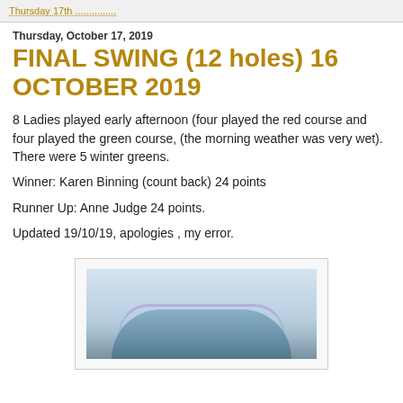Thursday 17th ...............
Thursday, October 17, 2019
FINAL SWING (12 holes) 16 OCTOBER 2019
8 Ladies played early afternoon (four played the red course and four played the green course,  (the morning weather was very wet). There were 5  winter greens.
Winner: Karen Binning (count back) 24 points
Runner Up: Anne Judge 24 points.
Updated 19/10/19, apologies , my error.
[Figure (photo): Photograph showing a landscape with sky and a curved hill or green, possibly with a faint rainbow arc.]